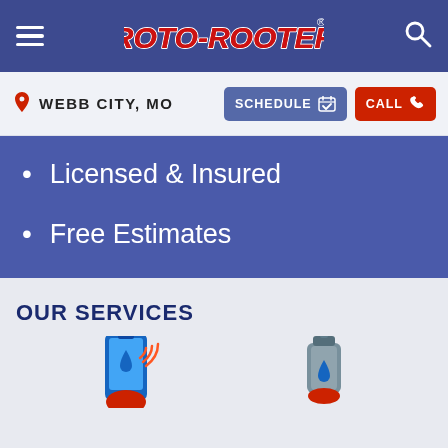ROTO-ROOTER navigation bar
WEBB CITY, MO
SCHEDULE
CALL
Licensed & Insured
Free Estimates
OUR SERVICES
[Figure (illustration): Two service icons partially visible at the bottom: a plumbing/phone icon on the left and a water heater/tank icon on the right]